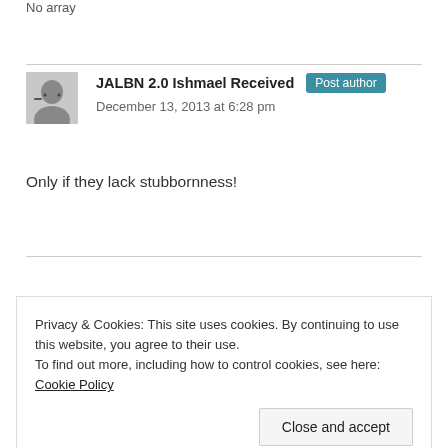No array
JALBN 2.0 Ishmael Received  Post author
December 13, 2013 at 6:28 pm
Only if they lack stubbornness!
Privacy & Cookies: This site uses cookies. By continuing to use this website, you agree to their use.
To find out more, including how to control cookies, see here: Cookie Policy
Close and accept